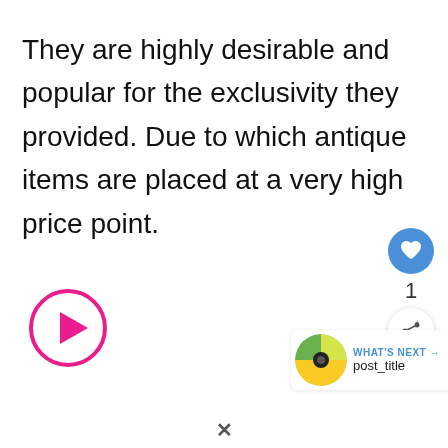They are highly desirable and popular for the exclusivity they provided. Due to which antique items are placed at a very high price point.
[Figure (other): Pink circular play button icon]
[Figure (other): Blue heart/like button with count '1' and share button below]
[Figure (other): What's Next panel showing a circular thumbnail with green and yellow halves and text 'WHAT'S NEXT → post_title']